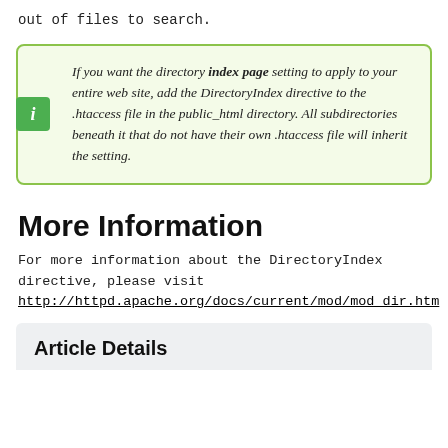out of files to search.
If you want the directory index page setting to apply to your entire web site, add the DirectoryIndex directive to the .htaccess file in the public_html directory. All subdirectories beneath it that do not have their own .htaccess file will inherit the setting.
More Information
For more information about the DirectoryIndex directive, please visit
http://httpd.apache.org/docs/current/mod/mod_dir.htm
Article Details